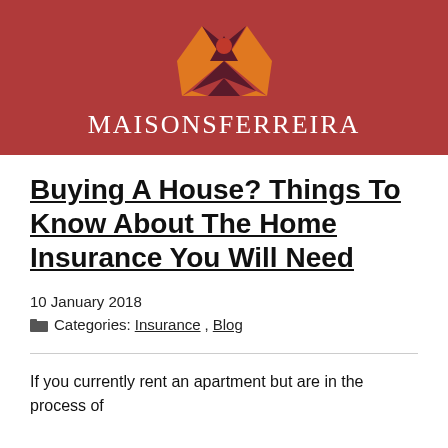[Figure (logo): MaisonsFerreira logo with geometric diamond/butterfly shape in orange and dark maroon with a red circle, above the text MAISONSFERREIRA in white serif letters on a dark red banner background]
Buying A House? Things To Know About The Home Insurance You Will Need
10 January 2018
Categories: Insurance, Blog
If you currently rent an apartment but are in the process of